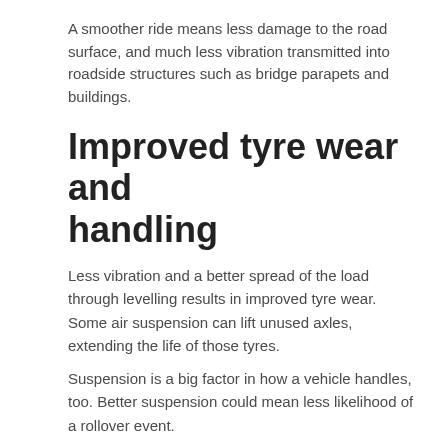A smoother ride means less damage to the road surface, and much less vibration transmitted into roadside structures such as bridge parapets and buildings.
Improved tyre wear and handling
Less vibration and a better spread of the load through levelling results in improved tyre wear. Some air suspension can lift unused axles, extending the life of those tyres.
Suspension is a big factor in how a vehicle handles, too. Better suspension could mean less likelihood of a rollover event.
Better resale values on lorries and trailers